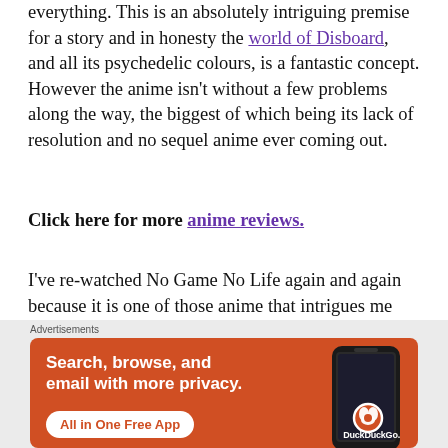everything. This is an absolutely intriguing premise for a story and in honesty the world of Disboard, and all its psychedelic colours, is a fantastic concept. However the anime isn't without a few problems along the way, the biggest of which being its lack of resolution and no sequel anime ever coming out.
Click here for more anime reviews.
I've re-watched No Game No Life again and again because it is one of those anime that intrigues me because of its premise, world building and visuals. The first time I watched this series I absolutely loved every minute of it. However progressive rewatches
[Figure (other): DuckDuckGo advertisement banner with orange background showing 'Search, browse, and email with more privacy. All in One Free App' text and a phone device graphic with the DuckDuckGo logo.]